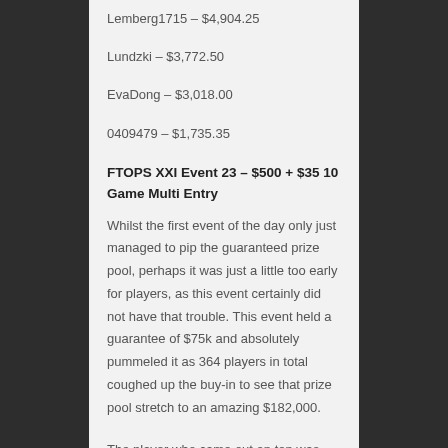Lemberg1715 – $4,904.25
Lundzki – $3,772.50
EvaDong – $3,018.00
0409479 – $1,735.35
FTOPS XXI Event 23 – $500 + $35 10 Game Multi Entry
Whilst the first event of the day only just managed to pip the guaranteed prize pool, perhaps it was just a little too early for players, as this event certainly did not have that trouble. This event held a guarantee of $75k and absolutely pummeled it as 364 players in total coughed up the buy-in to see that prize pool stretch to an amazing $182,000.
The player who came out on top was "InvisibleEnigma" who found himself